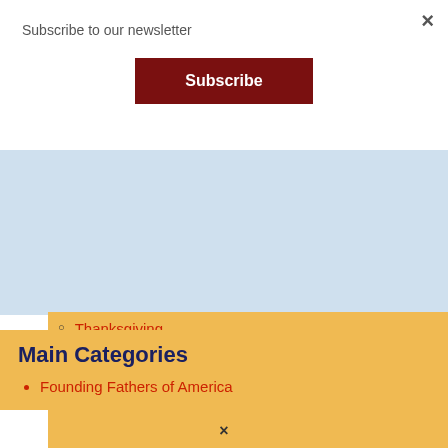×
Subscribe to our newsletter
Subscribe
Thanksgiving
Top 10 American Celebrations
Trick or Treat – Wicked American Celebrations
Main Categories
Founding Fathers of America
×